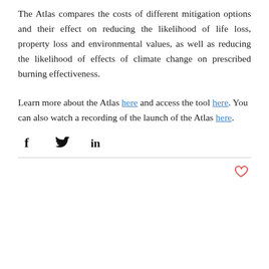The Atlas compares the costs of different mitigation options and their effect on reducing the likelihood of life loss, property loss and environmental values, as well as reducing the likelihood of effects of climate change on prescribed burning effectiveness.
Learn more about the Atlas here and access the tool here. You can also watch a recording of the launch of the Atlas here.
[Figure (other): Social media share icons: Facebook (f), Twitter (bird), LinkedIn (in)]